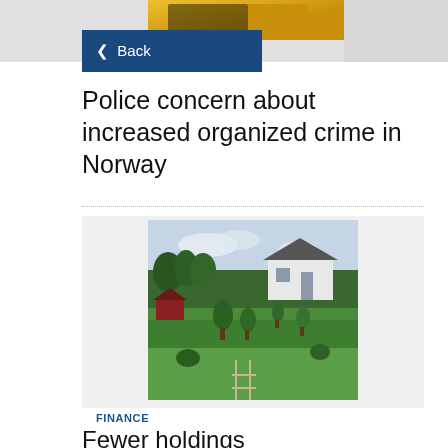[Figure (photo): Partial top view: yellow train/vehicle visible at top, gray background strip]
[Figure (other): Back navigation button with left arrow on dark blue background]
Police concern about increased organized crime in Norway
[Figure (photo): Landscape photo showing a white house with green lawn and trees in a Norwegian countryside setting]
FINANCE
Fewer holdings